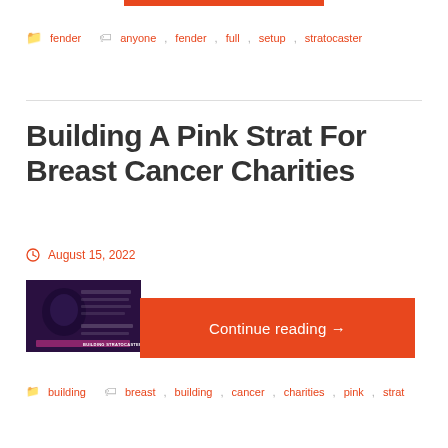fender | anyone, fender, full, setup, stratocaster
Building A Pink Strat For Breast Cancer Charities
August 15, 2022
[Figure (photo): Thumbnail image for blog post about building a pink Stratocaster for breast cancer charities, dark purple/blue background with overlaid text]
Continue reading →
building | breast, building, cancer, charities, pink, strat